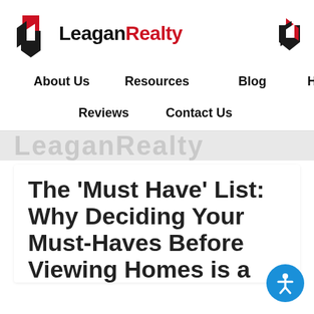[Figure (logo): LeaganRealty logo with diamond/house icon in red and black, and wordmark 'LeaganRealty' in black and red]
About Us   Resources   Blog   Home Search   Reviews   Contact Us
The 'Must Have' List: Why Deciding Your Must-Haves Before Viewing Homes is a